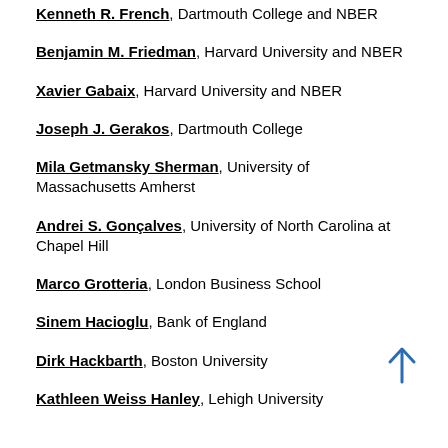Kenneth R. French, Dartmouth College and NBER
Benjamin M. Friedman, Harvard University and NBER
Xavier Gabaix, Harvard University and NBER
Joseph J. Gerakos, Dartmouth College
Mila Getmansky Sherman, University of Massachusetts Amherst
Andrei S. Gonçalves, University of North Carolina at Chapel Hill
Marco Grotteria, London Business School
Sinem Hacioglu, Bank of England
Dirk Hackbarth, Boston University
Kathleen Weiss Hanley, Lehigh University